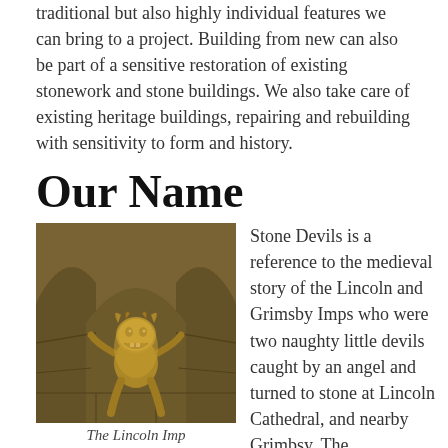traditional but also highly individual features we can bring to a project. Building from new can also be part of a sensitive restoration of existing stonework and stone buildings. We also take care of existing heritage buildings, repairing and rebuilding with sensitivity to form and history.
Our Name
[Figure (photo): Photo of a stone carved imp figure (the Lincoln Imp) on a cathedral architectural feature, showing a grinning golden-coloured stone figure caught between Gothic stonework]
The Lincoln Imp
Stone Devils is a reference to the medieval story of the Lincoln and Grimsby Imps who were two naughty little devils caught by an angel and turned to stone at Lincoln Cathedral, and nearby Grimbsy. The troublesome two imps reflect on how cheeky we like to be with our stonework. But we